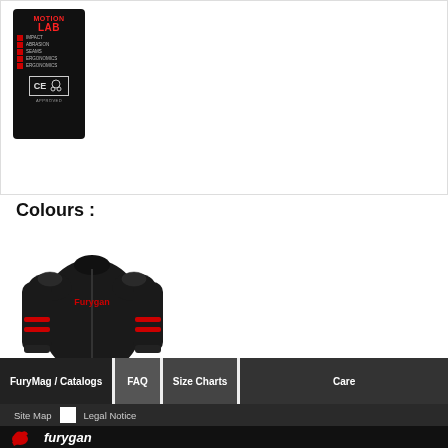[Figure (photo): Motion Lab CE approved label/badge on dark background with checklist items]
Colours :
[Figure (photo): Black and red Furygan motorcycle jacket]
FuryMag / Catalogs | FAQ | Size Charts | Care | Site Map | Legal Notice | Furygan logo